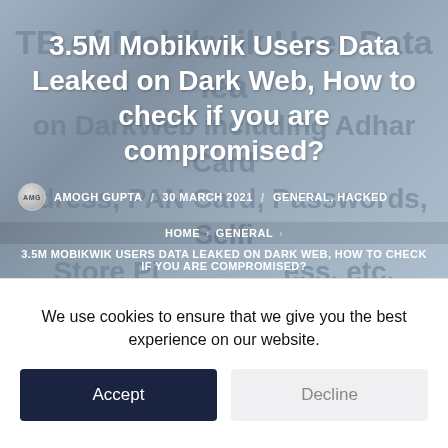[Figure (screenshot): Background image of a webpage with a header image showing text/logo partially visible, overlaid with large article title text in white on a grey-blue muted background]
3.5M Mobikwik Users Data Leaked on Dark Web, How to check if you are compromised?
AMOGH GUPTA / 30 MARCH 2021 / GENERAL, HACKED
HOME > GENERAL > 3.5M MOBIKWIK USERS DATA LEAKED ON DARK WEB, HOW TO CHECK IF YOU ARE COMPROMISED?
We use cookies to ensure that we give you the best experience on our website.
Accept
Decline